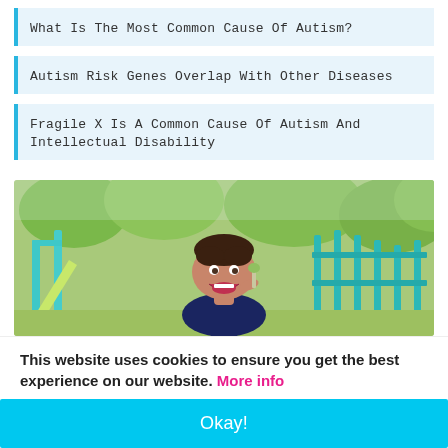What Is The Most Common Cause Of Autism?
Autism Risk Genes Overlap With Other Diseases
Fragile X Is A Common Cause Of Autism And Intellectual Disability
[Figure (photo): A smiling young boy at a playground, holding something up to his mouth, with teal playground equipment and green trees in the background.]
This website uses cookies to ensure you get the best experience on our website. More info
Okay!